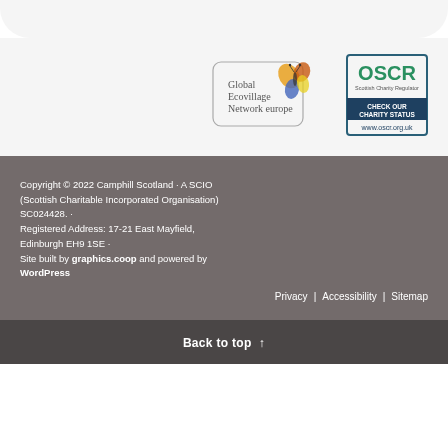[Figure (logo): Global Ecovillage Network europe logo with butterfly illustration]
[Figure (logo): OSCR Scottish Charity Regulator - Check Our Charity Status badge, www.oscr.org.uk]
Copyright © 2022 Camphill Scotland · A SCIO (Scottish Charitable Incorporated Organisation) SC024428. · Registered Address: 17-21 East Mayfield, Edinburgh EH9 1SE · Site built by graphics.coop and powered by WordPress
Privacy | Accessibility | Sitemap
Back to top ↑